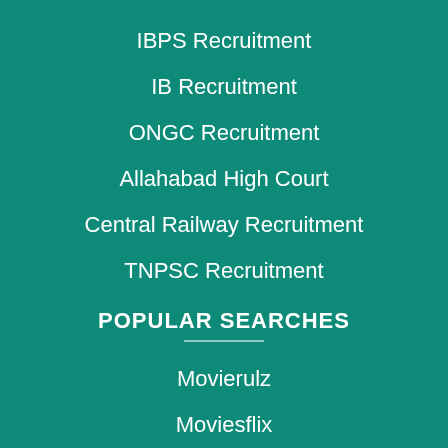IBPS Recruitment
IB Recruitment
ONGC Recruitment
Allahabad High Court
Central Railway Recruitment
TNPSC Recruitment
POPULAR SEARCHES
Movierulz
Moviesflix